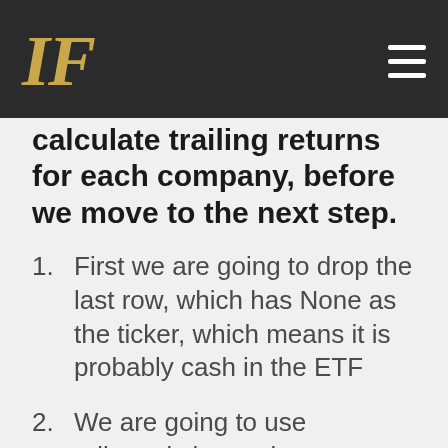IP [logo]
calculate trailing returns for each company, before we move to the next step.
First we are going to drop the last row, which has None as the ticker, which means it is probably cash in the ETF
We are going to use adjusted close prices